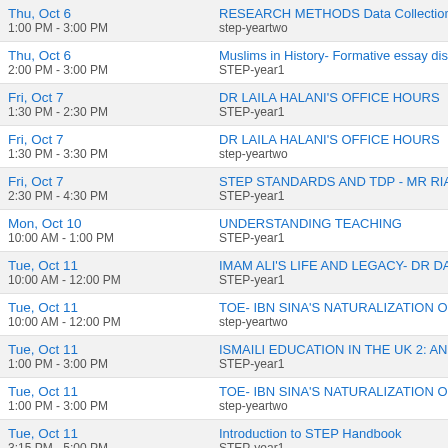| Date | Event |
| --- | --- |
| Thu, Oct 6
1:00 PM - 3:00 PM | RESEARCH METHODS Data Collection Methods: C
step-yeartwo |
| Thu, Oct 6
2:00 PM - 3:00 PM | Muslims in History- Formative essay discussion
STEP-year1 |
| Fri, Oct 7
1:30 PM - 2:30 PM | DR LAILA HALANI'S OFFICE HOURS
STEP-year1 |
| Fri, Oct 7
1:30 PM - 3:30 PM | DR LAILA HALANI'S OFFICE HOURS
step-yeartwo |
| Fri, Oct 7
2:30 PM - 4:30 PM | STEP STANDARDS AND TDP - MR RIAZ RHEMTU
STEP-year1 |
| Mon, Oct 10
10:00 AM - 1:00 PM | UNDERSTANDING TEACHING
STEP-year1 |
| Tue, Oct 11
10:00 AM - 12:00 PM | IMAM ALI'S LIFE AND LEGACY- DR DARYOUSH P
STEP-year1 |
| Tue, Oct 11
10:00 AM - 12:00 PM | TOE- IBN SINA'S NATURALIZATION OF FALSAFA-
step-yeartwo |
| Tue, Oct 11
1:00 PM - 3:00 PM | ISMAILI EDUCATION IN THE UK 2: AN OVERVIEW
STEP-year1 |
| Tue, Oct 11
1:00 PM - 3:00 PM | TOE- IBN SINA'S NATURALIZATION OF FALSAFA-
step-yeartwo |
| Tue, Oct 11
3:15 PM - 5:00 PM | Introduction to STEP Handbook
STEP-year1 |
| Wed, Oct 12
10:00 AM - 11:00 AM | ACADEMIC SKILLS SUPPORT SESSION- LISA MA
STEP-year1 |
| Wed, Oct 12
11:15 AM - 12:15 PM | ACADEMIC SKILLS SUPPORT SESSION- LISA MA
STEP-year1 |
| Wed, Oct 12
12:15 PM - 1:15 PM | ACADEMIC SKILLS SUPPORT SESSION- LISA MA
STEP-year1 |
| Thu, Oct 13
... | Muslims in History in Secondary Education- Lecture
STEP-year1 |